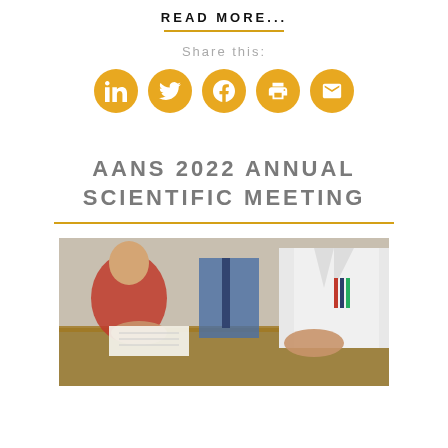READ MORE...
Share this:
[Figure (infographic): Social sharing icons: LinkedIn, Twitter, Facebook, Print, Email — all in gold/yellow circular buttons]
AANS 2022 ANNUAL SCIENTIFIC MEETING
[Figure (photo): Conference meeting scene — people in business and medical attire seated at a table, one person in a white lab coat visible on the right]